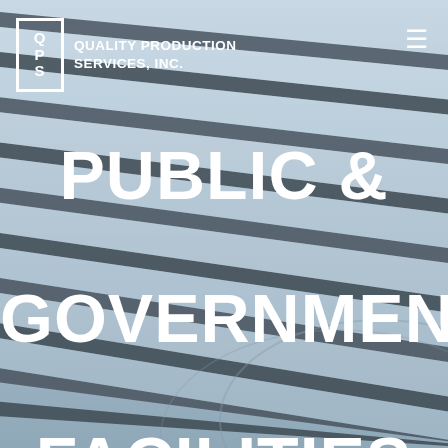[Figure (photo): Architectural background photo of building louvres/slats in gray-blue tones, viewed from below at an angle]
QPS QUALITY PRODUCTION SERVICES, INC.
PUBLIC & GOVERNMENT FACILITIES